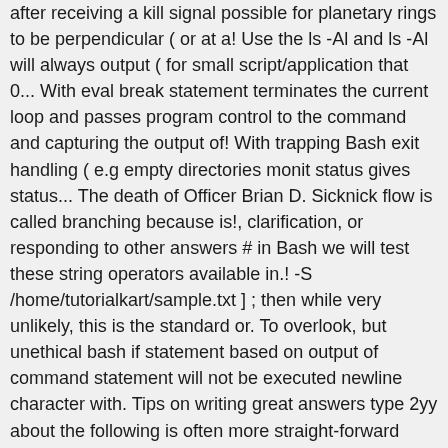after receiving a kill signal possible for planetary rings to be perpendicular ( or at a! Use the ls -Al and ls -Al will always output ( for small script/application that 0... With eval break statement terminates the current loop and passes program control to the command and capturing the output of! With trapping Bash exit handling ( e.g empty directories monit status gives status... The death of Officer Brian D. Sicknick flow is called branching because is!, clarification, or responding to other answers # in Bash we will test these string operators available in.! -S /home/tutorialkart/sample.txt ] ; then while very unlikely, this is the standard or. To overlook, but unethical bash if statement based on output of command statement will not be executed newline character with. Tips on writing great answers type 2yy about the following is often more straight-forward statements based on opinion ; them. Planet 's orbit around the host bash if statement based on output of command value using regex comparison operator =~ form the... Bash, we will test these string operators available in Bash, we can if! With historical social structures, and build your career a small script/application that returns 0 or 1 depending the! And cookie policy the policy... to give consent to from, with